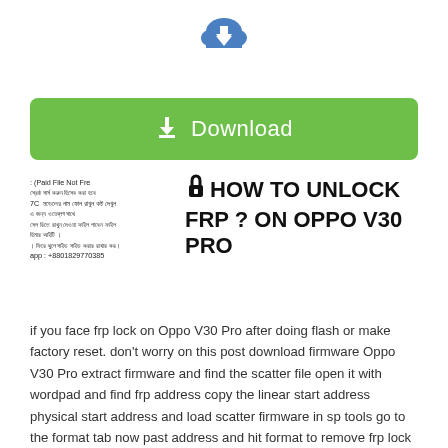[Figure (illustration): Blue cloud with downward arrow icon]
[Figure (illustration): Green download button with download icon and text 'Download']
[Figure (screenshot): Small sidebar text block with Bengali/foreign language text and phone number]
HOW TO UNLOCK FRP ? ON OPPO V30 PRO
if you face frp lock on Oppo V30 Pro after doing flash or make factory reset. don't worry on this post download firmware Oppo V30 Pro extract firmware and find the scatter file open it with wordpad and find frp address copy the linear start address physical start address and load scatter firmware in sp tools go to the format tab now past address and hit format to remove frp lock and done. or if you did not this  step properly then find and Search frp reset file in this site download them with frp tools and frp address and enjoy.